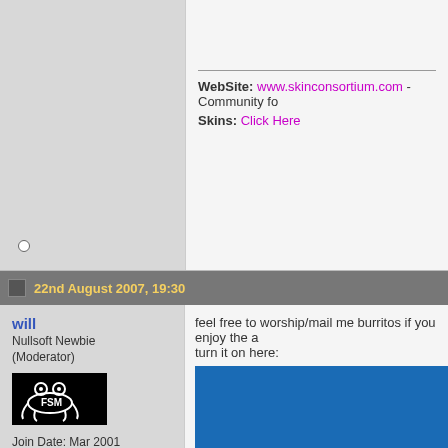WebSite: www.skinconsortium.com - Community fo... Skins: Click Here
22nd August 2007, 19:30
will
Nullsoft Newbie (Moderator)
[Figure (logo): Flying Spaghetti Monster (FSM) logo in white on black background]
Join Date: Mar 2001
Location: Sheffield, England
Posts: 5,569
feel free to worship/mail me burritos if you enjoy the a... turn it on here:
[Figure (screenshot): Blue screenshot area with yellow/gold bar at bottom]